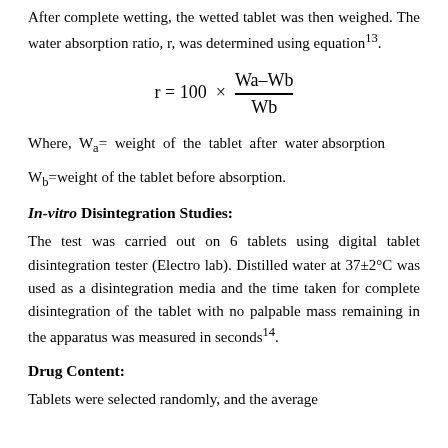After complete wetting, the wetted tablet was then weighed. The water absorption ratio, r, was determined using equation13.
Where, Wa= weight of the tablet after water absorption
Wb=weight of the tablet before absorption.
In-vitro Disintegration Studies:
The test was carried out on 6 tablets using digital tablet disintegration tester (Electro lab). Distilled water at 37±2°C was used as a disintegration media and the time taken for complete disintegration of the tablet with no palpable mass remaining in the apparatus was measured in seconds14.
Drug Content:
Tablets were selected randomly, and the average weight was calculated. Tablets were crushed to